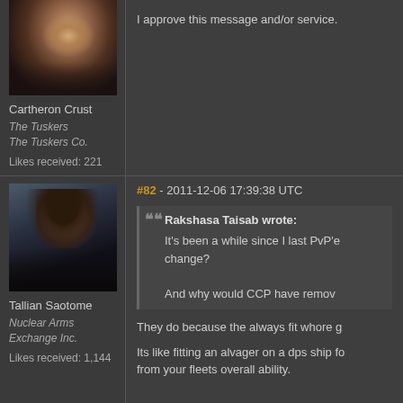[Figure (photo): Avatar portrait of Cartheron Crust, dark-toned character]
Cartheron Crust
The Tuskers
The Tuskers Co.
Likes received: 221
I approve this message and/or service.
#82 - 2011-12-06 17:39:38 UTC
[Figure (photo): Avatar portrait of Tallian Saotome, dark long-haired character]
Tallian Saotome
Nuclear Arms Exchange Inc.
Likes received: 1,144
Rakshasa Taisab wrote:
It's been a while since I last PvP'e change?

And why would CCP have remov
They do because the always fit whore g
Its like fitting an alvager on a dps ship fo from your fleets overall ability.